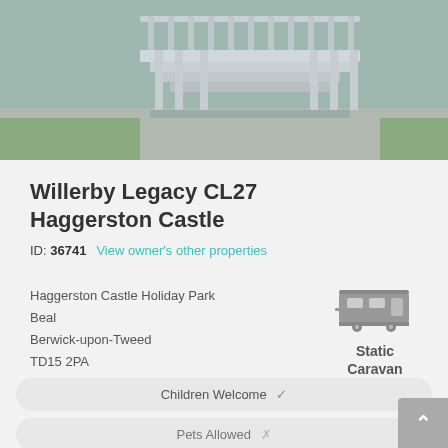[Figure (photo): Outdoor photo showing white wooden steps/staircase structure at a holiday park]
Willerby Legacy CL27 Haggerston Castle
ID: 36741    View owner's other properties
Haggerston Castle Holiday Park
Beal
Berwick-upon-Tweed
TD15 2PA
[Figure (illustration): Static caravan icon — grey silhouette of a caravan/mobile home]
Static Caravan
Children Welcome ✓
Pets Allowed ✗
Smoking Allowed ✗
Non Family Groups Welcome ✗